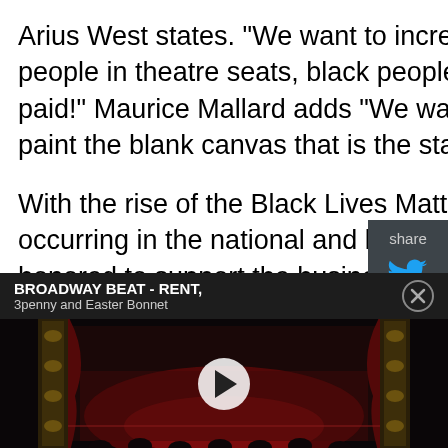Arius West states. "We want to increase the representation of black people in theatre seats, black people on stage, and black people getting paid!" Maurice Mallard adds "We want to use every color on our pallet to paint the blank canvas that is the stage."
With the rise of the Black Lives Matter movement, an important shift is occurring in the national and local arts communities. Orlando REP is honored to support the business development, facilitation, and operations of MBE's inaugural season. Orlando REP Artistic Director Jeff Revels says, "The inflection points of racial injustice put race into sharp relief across all aspects of our communities. In the theatre-
[Figure (screenshot): Video thumbnail showing a dark theatre interior with ornate golden columns and a red-lit stage, with a play button overlay. A top bar reads 'BROADWAY BEAT - RENT, 3penny and Easter Bonnet' with a close button.]